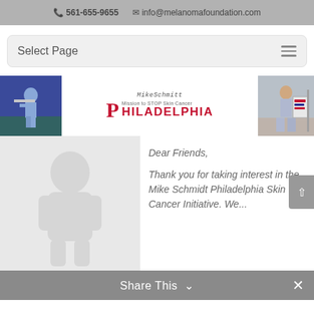561-655-9655   info@melanomafoundation.com
Select Page
[Figure (illustration): Banner image for Mike Schmidt Philadelphia Mission to STOP Skin Cancer initiative, featuring a baseball player batting, the Mike Schmidt signature, Phillies P logo, mission text, and a child with a skin cancer screening banner]
[Figure (photo): Faded/watermarked photo of a person, used as a decorative background image on the left side of the content area]
Dear Friends,

Thank you for taking interest in the Mike Schmidt Philadelphia Skin Cancer Initiative. We...
Share This